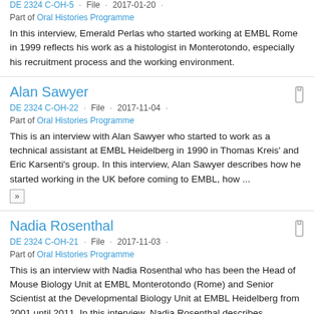DE 2324 C-OH-5 · File · 2017-01-20 ·
Part of Oral Histories Programme
In this interview, Emerald Perlas who started working at EMBL Rome in 1999 reflects his work as a histologist in Monterotondo, especially his recruitment process and the working environment.
Alan Sawyer
DE 2324 C-OH-22 · File · 2017-11-04 ·
Part of Oral Histories Programme
This is an interview with Alan Sawyer who started to work as a technical assistant at EMBL Heidelberg in 1990 in Thomas Kreis' and Eric Karsenti's group. In this interview, Alan Sawyer describes how he started working in the UK before coming to EMBL, how ...
Nadia Rosenthal
DE 2324 C-OH-21 · File · 2017-11-03 ·
Part of Oral Histories Programme
This is an interview with Nadia Rosenthal who has been the Head of Mouse Biology Unit at EMBL Monterotondo (Rome) and Senior Scientist at the Developmental Biology Unit at EMBL Heidelberg from 2001 until 2011. In this interview, Nadia Rosenthal describes ...